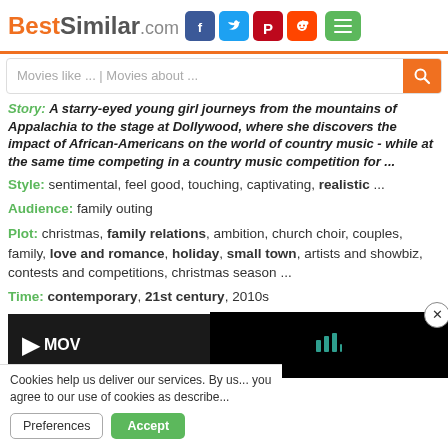BestSimilar.com
Movies like ... | Movies about ...
Story: A starry-eyed young girl journeys from the mountains of Appalachia to the stage at Dollywood, where she discovers the impact of African-Americans on the world of country music - while at the same time competing in a country music competition for ...
Style: sentimental, feel good, touching, captivating, realistic ...
Audience: family outing
Plot: christmas, family relations, ambition, church choir, couples, family, love and romance, holiday, small town, artists and showbiz, contests and competitions, christmas season ...
Time: contemporary, 21st century, 2010s
[Figure (screenshot): Movie video thumbnail with play button and popup overlay with close button]
Cookies help us deliver our services. By us... you agree to our use of cookies as describe...